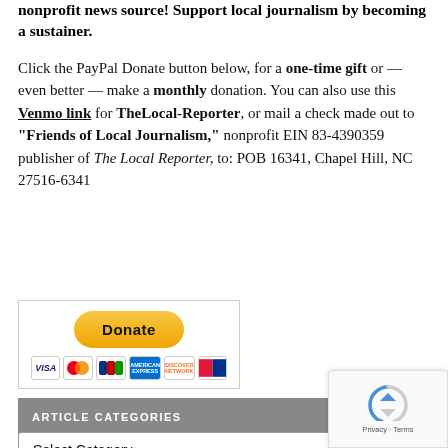nonprofit news source! Support local journalism by becoming a sustainer.
Click the PayPal Donate button below, for a one-time gift or — even better — make a monthly donation. You can also use this Venmo link for TheLocal-Reporter, or mail a check made out to "Friends of Local Journalism," nonprofit EIN 83-4390359 publisher of The Local Reporter, to: POB 16341, Chapel Hill, NC 27516-6341
[Figure (other): PayPal Donate button with credit card icons (Visa, Mastercard, JCB, American Express, Discover, UnionPay) inside a bordered box]
ARTICLE CATEGORIES
Select Category